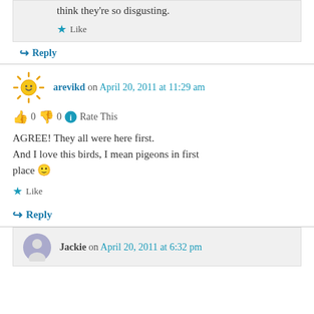think they're so disgusting.
★ Like
↪ Reply
arevikd on April 20, 2011 at 11:29 am
👍 0 👎 0 ℹ Rate This
AGREE! They all were here first.
And I love this birds, I mean pigeons in first place 🙂
★ Like
↪ Reply
Jackie on April 20, 2011 at 6:32 pm